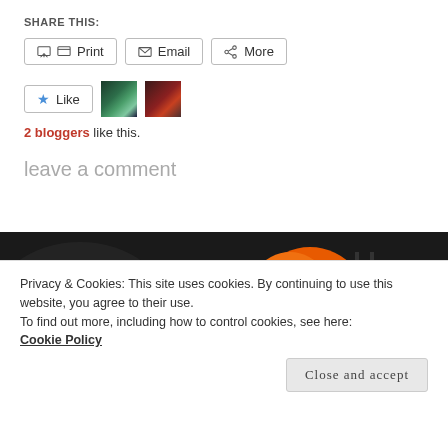SHARE THIS:
Print | Email | More (share buttons)
★ Like | 2 blogger avatars shown
2 bloggers like this.
leave a comment
[Figure (photo): Dark background with large orange object (pumpkin or balloon) and text at bottom partially visible]
Privacy & Cookies: This site uses cookies. By continuing to use this website, you agree to their use.
To find out more, including how to control cookies, see here:
Cookie Policy
Close and accept